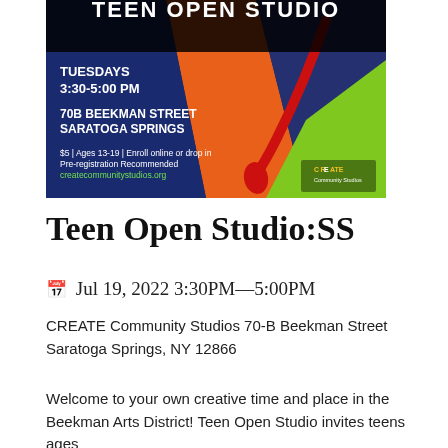[Figure (illustration): Teen Open Studio promotional poster with colorful abstract painting background. Text reads: TEEN OPEN STUDIO, TUESDAYS 3:30-5:00 PM, 70B BEEKMAN STREET SARATOGA SPRINGS, $5 | Ages 13-19 | Enroll online or drop in, Pre-registration Recommended, createcommunitystudios.org, CREATE Community Studios logo.]
Teen Open Studio:SS
📅 Jul 19, 2022 3:30PM—5:00PM
CREATE Community Studios 70-B Beekman Street Saratoga Springs, NY 12866
Welcome to your own creative time and place in the Beekman Arts District! Teen Open Studio invites teens ages